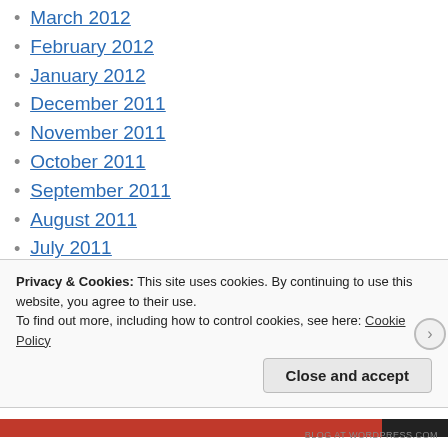March 2012
February 2012
January 2012
December 2011
November 2011
October 2011
September 2011
August 2011
July 2011
June 2011
May 2011
April 2011
Privacy & Cookies: This site uses cookies. By continuing to use this website, you agree to their use. To find out more, including how to control cookies, see here: Cookie Policy
Close and accept